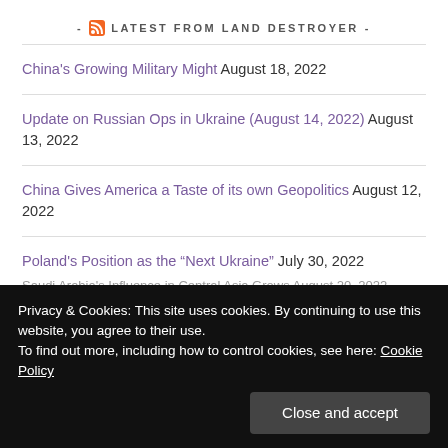- LATEST FROM LAND DESTROYER -
China's Growing Military Might August 18, 2022
Update on Russian Ops in Ukraine (August 14, 2022) August 13, 2022
China Gives America a Taste of its own Geopolitics August 12, 2022
Poland's Position as the “Next Ukraine” July 30, 2022
US “Iran Nuclear Deal” Ploy Coming Full Circle July 23, 2022
Privacy & Cookies: This site uses cookies. By continuing to use this website, you agree to their use.
To find out more, including how to control cookies, see here: Cookie Policy
Saudi Arabia's Influence in Central Asia Grows August 20, 2022